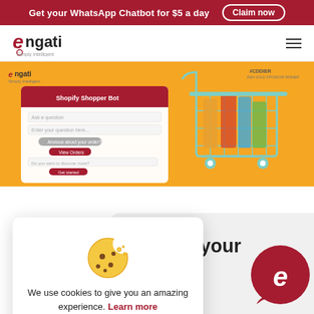Get your WhatsApp Chatbot for $5 a day  Claim now
[Figure (logo): Engati logo with tagline 'Simply Intelligent']
[Figure (screenshot): Shopify Shopper Bot interface screenshot on orange background with shopping cart]
[Figure (illustration): Cookie consent popup with cookie icon, text 'We use cookies to give you an amazing experience. Learn more', and ACCEPT button]
IMAGINE
promote your e store in